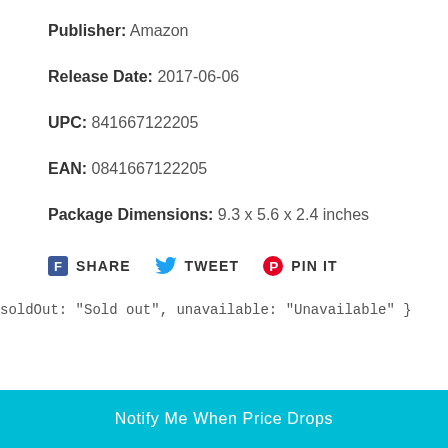Publisher: Amazon
Release Date: 2017-06-06
UPC: 841667122205
EAN: 0841667122205
Package Dimensions: 9.3 x 5.6 x 2.4 inches
SHARE  TWEET  PIN IT
soldOut: "Sold out", unavailable: "Unavailable" }
Notify Me When Price Drops